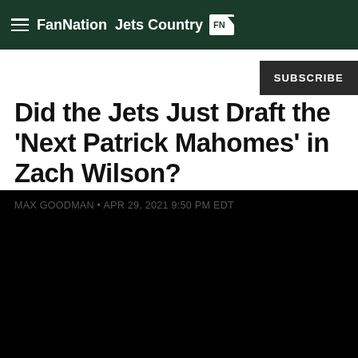FanNation Jets Country FN
Did the Jets Just Draft the 'Next Patrick Mahomes' in Zach Wilson?
MAX GOODMAN • APR 29, 2021 9:50 PM EDT
[Figure (photo): Black image area - video/photo placeholder]